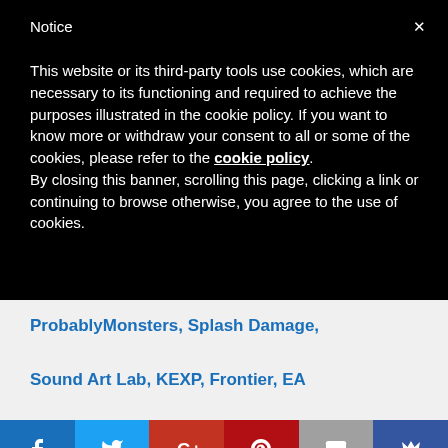Notice
This website or its third-party tools use cookies, which are necessary to its functioning and required to achieve the purposes illustrated in the cookie policy. If you want to know more or withdraw your consent to all or some of the cookies, please refer to the cookie policy.
By closing this banner, scrolling this page, clicking a link or continuing to browse otherwise, you agree to the use of cookies.
ProbablyMonsters, Splash Damage, Sound Art Lab, KEXP, Frontier, EA Create, Advanced Systems Group,